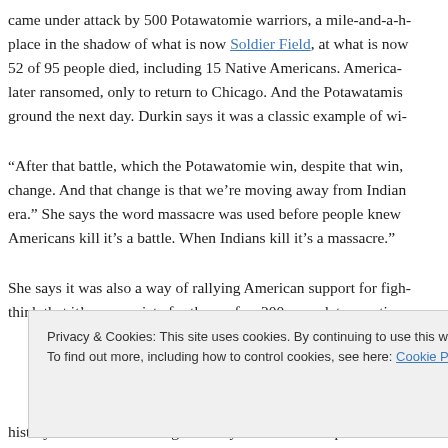came under attack by 500 Potawatomie warriors, a mile-and-a-h- place in the shadow of what is now Soldier Field, at what is now 52 of 95 people died, including 15 Native Americans. America- later ransomed, only to return to Chicago. And the Potawatamis ground the next day. Durkin says it was a classic example of wi-
“After that battle, which the Potawatomie win, despite that win, change. And that change is that we’re moving away from Indian era.” She says the word massacre was used before people knew Americans kill it’s a battle. When Indians kill it’s a massacre.”
She says it was also a way of rallying American support for figh- think that it’s appropriate for those of us 200 years later, particu-
Privacy & Cookies: This site uses cookies. By continuing to use this website, you agree to their use.
To find out more, including how to control cookies, see here: Cookie Policy
history lessons. The Chicago History Museum has a permanen-